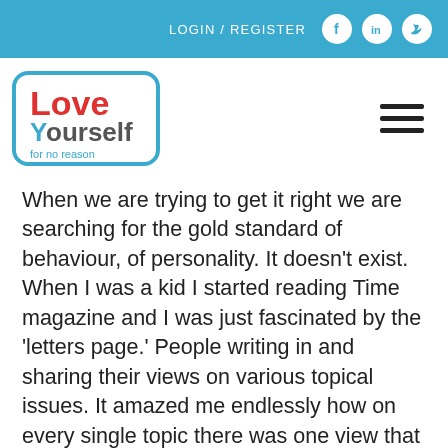LOGIN / REGISTER
[Figure (logo): Love Yourself for no reason logo — red 'Love' text and blue 'Yourself for no reason' text inside a rounded blue border rectangle]
When we are trying to get it right we are searching for the gold standard of behaviour, of personality. It doesn't exist. When I was a kid I started reading Time magazine and I was just fascinated by the 'letters page.' People writing in and sharing their views on various topical issues. It amazed me endlessly how on every single topic there was one view that opposed and one view that supported the issue. If you're trying to